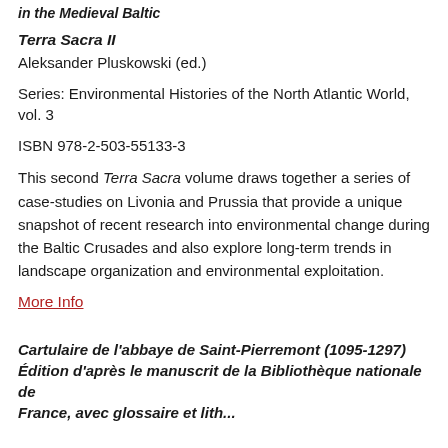in the Medieval Baltic
Terra Sacra II
Aleksander Pluskowski (ed.)
Series: Environmental Histories of the North Atlantic World, vol. 3
ISBN 978-2-503-55133-3
This second Terra Sacra volume draws together a series of case-studies on Livonia and Prussia that provide a unique snapshot of recent research into environmental change during the Baltic Crusades and also explore long-term trends in landscape organization and environmental exploitation.
More Info
Cartulaire de l'abbaye de Saint-Pierremont (1095-1297) Édition d'après le manuscrit de la Bibliothèque nationale de France, avec glossaire et lithographie d'une...